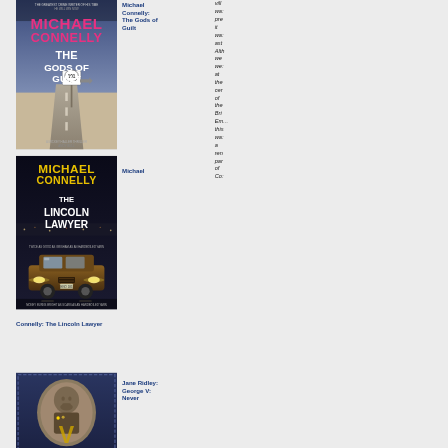[Figure (photo): Book cover: Michael Connelly - The Gods of Guilt, showing a desert highway scene]
Michael Connelly: The Gods of Guilt
villa...
wa...
pre...
it
wa...
ast
Altl
we
we...
at
the
cer
of
the
Brit
Em...
this
wa...
a
ren
par
of
Co...
[Figure (photo): Book cover: Michael Connelly - The Lincoln Lawyer, showing a yellow car at night]
Michael
Connelly: The Lincoln Lawyer
[Figure (photo): Book cover: Jane Ridley - George V: Never, showing a portrait of a man]
Jane Ridley: George V: Never